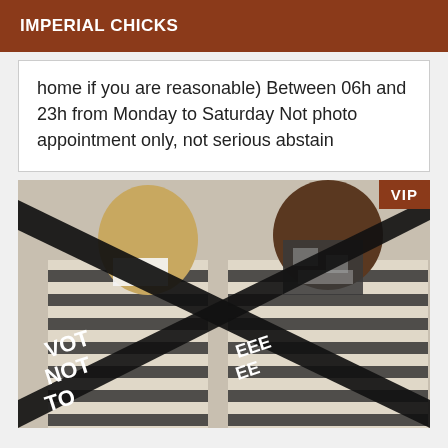IMPERIAL CHICKS
home if you are reasonable) Between 06h and 23h from Monday to Saturday Not photo appointment only, not serious abstain
[Figure (photo): Two women wearing striped black and white clothing with large black diagonal banner overlays obscuring their faces, and a VIP badge in the top right corner.]